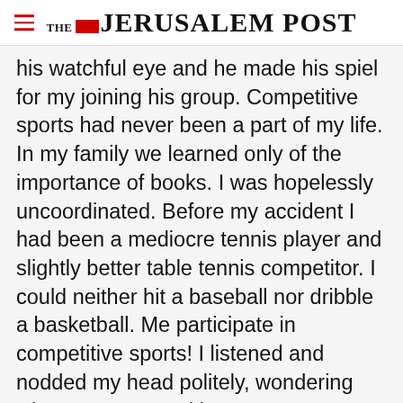THE JERUSALEM POST
his watchful eye and he made his spiel for my joining his group. Competitive sports had never been a part of my life. In my family we learned only of the importance of books. I was hopelessly uncoordinated. Before my accident I had been a mediocre tennis player and slightly better table tennis competitor. I could neither hit a baseball nor dribble a basketball. Me participate in competitive sports! I listened and nodded my head politely, wondering what was wrong with
Advertisement